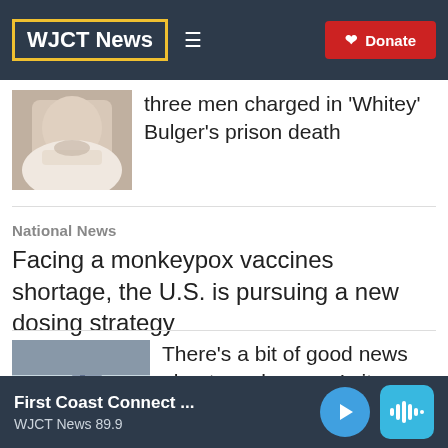WJCT News | Donate
[Figure (photo): Close-up photo of an older man with a white beard]
three men charged in 'Whitey' Bulger's prison death
National News
Facing a monkeypox vaccines shortage, the U.S. is pursuing a new dosing strategy
[Figure (photo): Photo of gloved hands handling a medical syringe/vaccine]
There's a bit of good news about monkeypox. Is it because of the vaccine?
First Coast Connect ... WJCT News 89.9